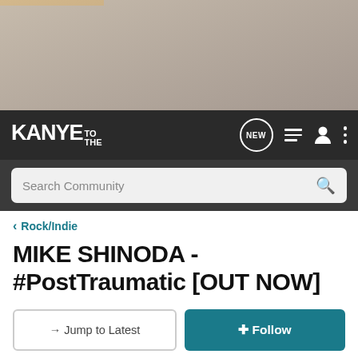[Figure (screenshot): Website banner with faded background image showing silhouettes, with an orange accent bar at top left]
KANYE TO THE — navigation bar with NEW chat icon, list icon, user icon, and more options icon
Search Community
< Rock/Indie
MIKE SHINODA - #PostTraumatic [OUT NOW]
→ Jump to Latest
+ Follow
How would you rate Post Traumatic?